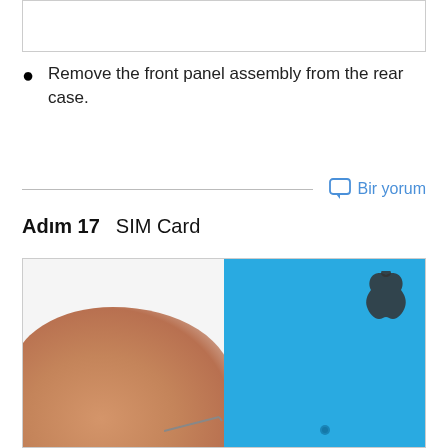[Figure (photo): Top portion of a device assembly photo, mostly white/blank area with a thin border]
Remove the front panel assembly from the rear case.
Bir yorum
Adım 17    SIM Card
[Figure (photo): Photo showing a hand holding a SIM eject tool near a blue iPhone 5c rear case with Apple logo visible in upper right]